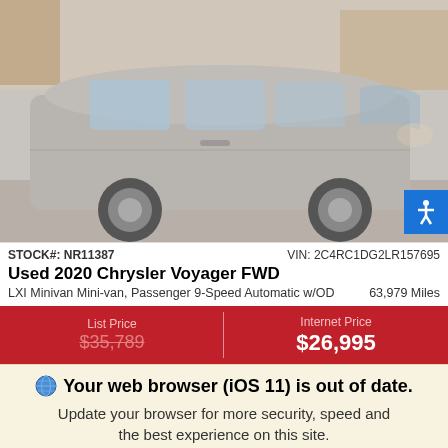[Figure (photo): Silver 2020 Chrysler Voyager FWD minivan photographed at a dealership parking lot. Side and front view, parked outdoors.]
STOCK#: NR11387    VIN: 2C4RC1DG2LR157695
Used 2020 Chrysler Voyager FWD
LXI Minivan Mini-van, Passenger 9-Speed Automatic w/OD    63,979 Miles
| List Price | Internet Price |
| --- | --- |
| $35,789 | $26,995 |
🌐 Your web browser (iOS 11) is out of date.
Update your browser for more security, speed and the best experience on this site.
Update browser   Ignore